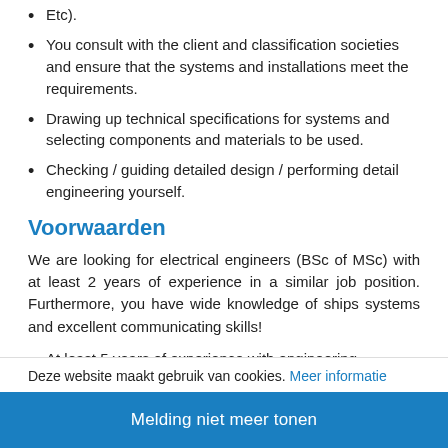Etc).
You consult with the client and classification societies and ensure that the systems and installations meet the requirements.
Drawing up technical specifications for systems and selecting components and materials to be used.
Checking / guiding detailed design / performing detail engineering yourself.
Voorwaarden
We are looking for electrical engineers (BSc of MSc) with at least 2 years of experience in a similar job position. Furthermore, you have wide knowledge of ships systems and excellent communicating skills!
At least 5 years of experience with engineering electrical installations within the shipbuiling industry.
Good knowledge of materials with regard to electrical- or ...
Knowledge and experience with Eplan, AutoCAD, SEE
Deze website maakt gebruik van cookies. Meer informatie
Melding niet meer tonen